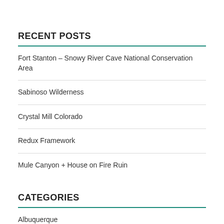RECENT POSTS
Fort Stanton – Snowy River Cave National Conservation Area
Sabinoso Wilderness
Crystal Mill Colorado
Redux Framework
Mule Canyon + House on Fire Ruin
CATEGORIES
Albuquerque